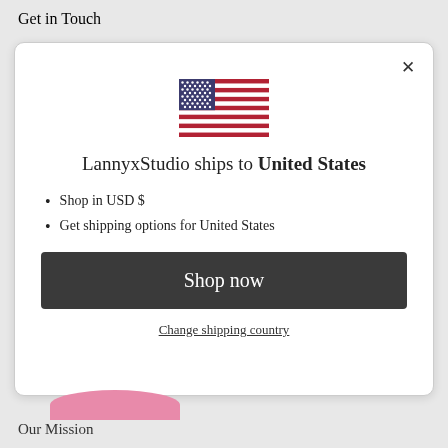Get in Touch
[Figure (illustration): US flag emoji/icon centered in modal]
LannyxStudio ships to United States
Shop in USD $
Get shipping options for United States
Shop now
Change shipping country
Our Mission